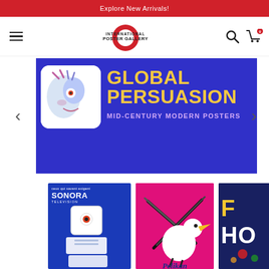Explore New Arrivals!
[Figure (logo): International Poster Gallery logo with red circle/ring and text]
[Figure (screenshot): Hero banner: blue background with illustrated face icon, text GLOBAL PERSUASION MID-CENTURY MODERN POSTERS in yellow and purple]
[Figure (photo): Sonora Television mid-century modern poster on blue background]
[Figure (photo): Pelikan pen advertisement poster on magenta/pink background with white pelican bird and fountain pens]
[Figure (photo): Partially visible dark blue poster with yellow text HO]